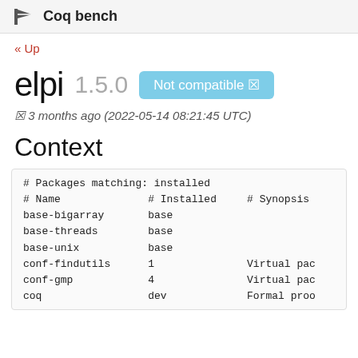🏁 Coq bench
« Up
elpi 1.5.0  Not compatible ✗
✗ 3 months ago (2022-05-14 08:21:45 UTC)
Context
| # Name | # Installed | # Synopsis |
| --- | --- | --- |
| base-bigarray | base |  |
| base-threads | base |  |
| base-unix | base |  |
| conf-findutils | 1 | Virtual pac |
| conf-gmp | 4 | Virtual pac |
| coq | dev | Formal proo |